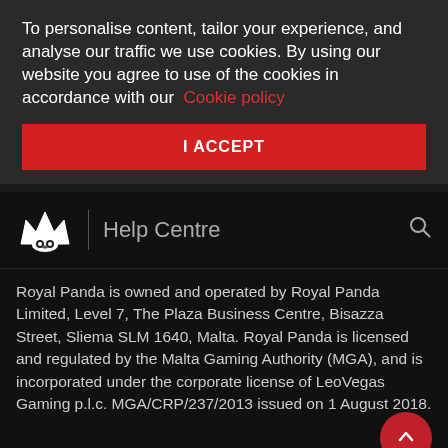To personalise content, tailor your experience, and analyse our traffic we use cookies. By using our website you agree to use of the cookies in accordance with our Cookie policy
I ACCEPT
[Figure (logo): Royal Panda crown logo icon in white]
Help Centre
Royal Panda is owned and operated by Royal Panda Limited, Level 7, The Plaza Business Centre, Bisazza Street, Sliema SLM 1640, Malta. Royal Panda is licensed and regulated by the Malta Gaming Authority (MGA), and is incorporated under the corporate license of LeoVegas Gaming p.l.c. MGA/CRP/237/2013 issued on 1 August 2018.